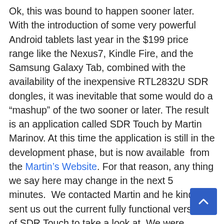Ok, this was bound to happen sooner later. With the introduction of some very powerful Android tablets last year in the $199 price range like the Nexus7, Kindle Fire, and the Samsung Galaxy Tab, combined with the availability of the inexpensive RTL2832U SDR dongles, it was inevitable that some would do a “mashup” of the two sooner or later. The result is an application called SDR Touch by Martin Marinov. At this time the application is still in the development phase, but is now available  from the Martin’s Website. For that reason, any thing we say here may change in the next 5 minutes.  We contacted Martin and he kindly sent us out the current fully functional version of SDR Touch to take a look at. We were impressed with Martins’ work.